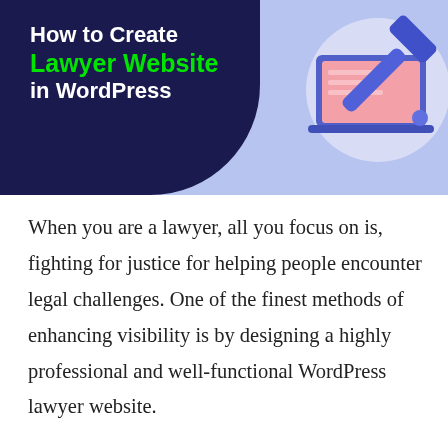[Figure (illustration): Banner image showing a dark navy blob shape on the left with white title text 'How to Create Lawyer Website in WordPress', and a purple/lavender background on the right with a stylized laptop/gavel illustration in blue/purple tones]
When you are a lawyer, all you focus on is, fighting for justice for helping people encounter legal challenges. One of the finest methods of enhancing visibility is by designing a highly professional and well-functional WordPress lawyer website.
Then again this is a digital world we live in